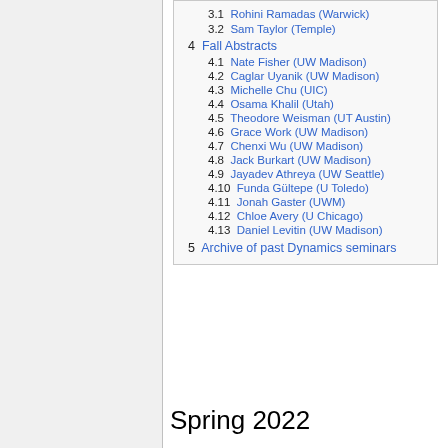3.1  Rohini Ramadas (Warwick)
3.2  Sam Taylor (Temple)
4  Fall Abstracts
4.1  Nate Fisher (UW Madison)
4.2  Caglar Uyanik (UW Madison)
4.3  Michelle Chu (UIC)
4.4  Osama Khalil (Utah)
4.5  Theodore Weisman (UT Austin)
4.6  Grace Work (UW Madison)
4.7  Chenxi Wu (UW Madison)
4.8  Jack Burkart (UW Madison)
4.9  Jayadev Athreya (UW Seattle)
4.10  Funda Gültepe (U Toledo)
4.11  Jonah Gaster (UWM)
4.12  Chloe Avery (U Chicago)
4.13  Daniel Levitin (UW Madison)
5  Archive of past Dynamics seminars
Spring 2022